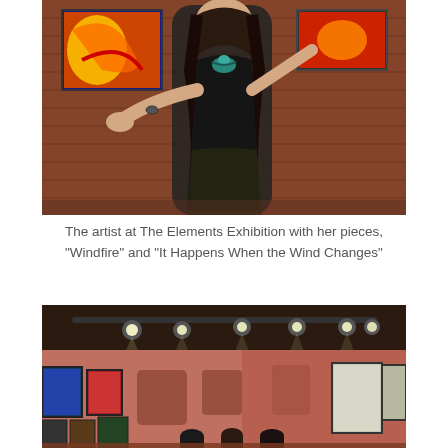[Figure (photo): A woman in a black dress posing in an art gallery with brick walls, colorful paintings visible behind her including abstract artwork. She is wearing a teal/green necklace and has long dark hair.]
The artist at The Elements Exhibition with her pieces, "Windfire" and "It Happens When the Wind Changes"
[Figure (photo): Interior view of an art gallery with brick walls, track lighting on the ceiling, and numerous artworks hung on the walls. Several visitors can be seen viewing the art.]